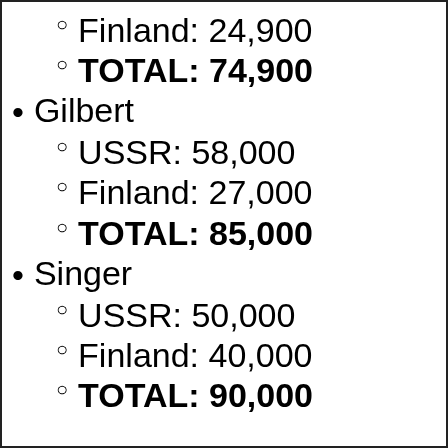Finland: 24,900
TOTAL: 74,900
Gilbert
USSR: 58,000
Finland: 27,000
TOTAL: 85,000
Singer
USSR: 50,000
Finland: 40,000
TOTAL: 90,000